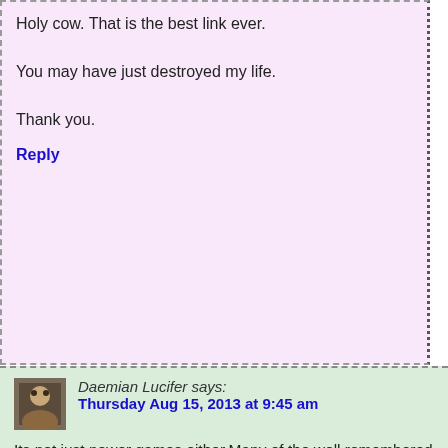Holy cow. That is the best link ever.

You may have just destroyed my life.

Thank you.
Reply
Daemian Lucifer says: Thursday Aug 15, 2013 at 9:45 am
Its not just newer games either.Many of the well remembered 2d games are well remembered because of their art.
Reply
Retsan says: Thursday Aug 15, 2013 at 12:31 pm